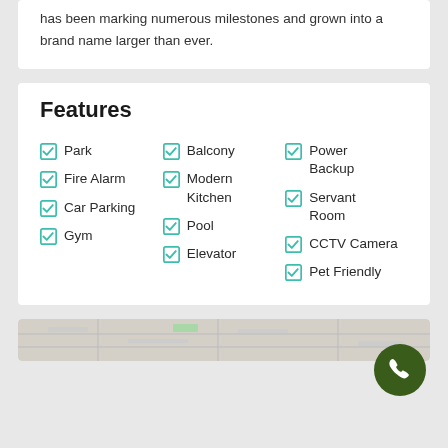has been marking numerous milestones and grown into a brand name larger than ever.
Features
Park
Balcony
Power Backup
Fire Alarm
Modern Kitchen
Servant Room
Car Parking
Pool
CCTV Camera
Gym
Elevator
Pet Friendly
[Figure (map): Street map showing location]